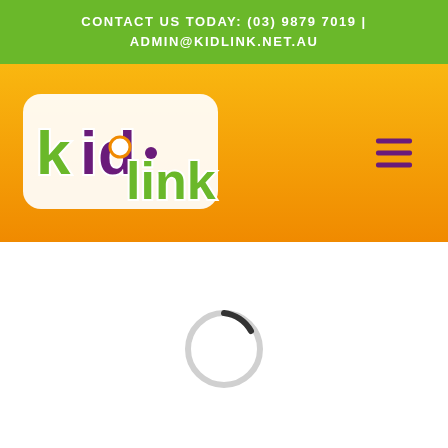CONTACT US TODAY: (03) 9879 7019 | ADMIN@KIDLINK.NET.AU
[Figure (logo): Kidlink logo on orange/yellow gradient navigation bar with hamburger menu icon]
[Figure (other): Loading spinner - circular spinner with dark arc segment on white background]